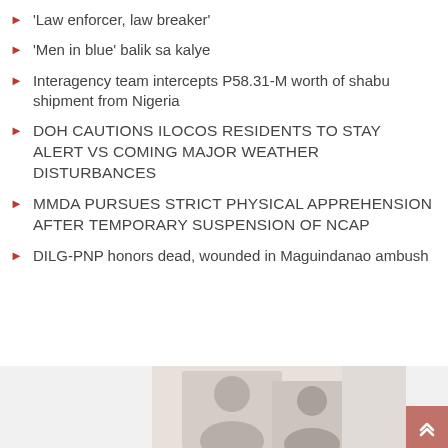'Law enforcer, law breaker'
'Men in blue' balik sa kalye
Interagency team intercepts P58.31-M worth of shabu shipment from Nigeria
DOH CAUTIONS ILOCOS RESIDENTS TO STAY ALERT VS COMING MAJOR WEATHER DISTURBANCES
MMDA PURSUES STRICT PHYSICAL APPREHENSION AFTER TEMPORARY SUSPENSION OF NCAP
DILG-PNP honors dead, wounded in Maguindanao ambush
[Figure (photo): Photo of a person, partially visible at bottom of page with a scroll-to-top button in coral/red on the right side.]